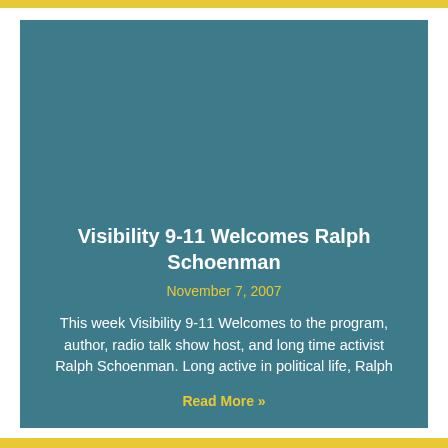[Figure (illustration): Decorative teal/dark cyan colored card background area occupying the upper portion of the card]
Visibility 9-11 Welcomes Ralph Schoenman
November 7, 2007
This week Visibility 9-11 Welcomes to the program, author, radio talk show host, and long time activist Ralph Schoenman. Long active in political life, Ralph
Read More »